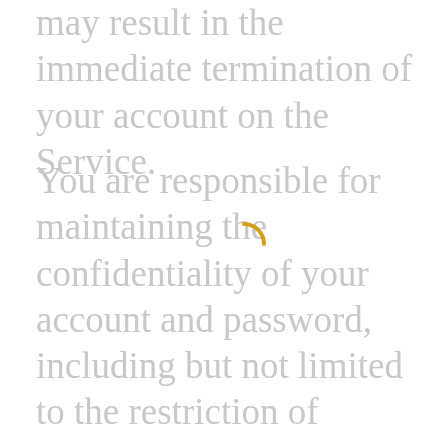may result in the immediate termination of your account on the Service.
You are responsible for maintaining the confidentiality of your account and password, including but not limited to the restriction of access to your computer and/or account. You agree to accept responsibility for any and all activities or actions that occur under your account and/or password, whether your password is with our Service or a third-party service. You must notify us immediately upon